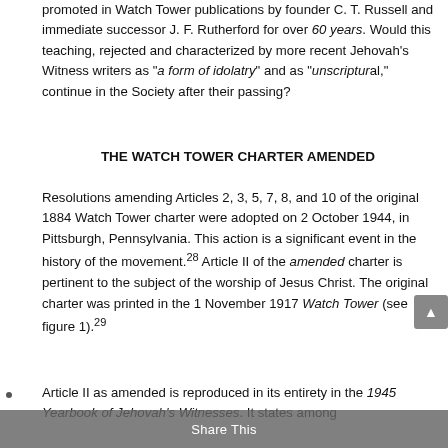promoted in Watch Tower publications by founder C. T. Russell and immediate successor J. F. Rutherford for over 60 years. Would this teaching, rejected and characterized by more recent Jehovah's Witness writers as "a form of idolatry" and as "unscriptural," continue in the Society after their passing?
THE WATCH TOWER CHARTER AMENDED
Resolutions amending Articles 2, 3, 5, 7, 8, and 10 of the original 1884 Watch Tower charter were adopted on 2 October 1944, in Pittsburgh, Pennsylvania. This action is a significant event in the history of the movement.28 Article II of the amended charter is pertinent to the subject of the worship of Jesus Christ. The original charter was printed in the 1 November 1917 Watch Tower (see figure 1).29
Article II as amended is reproduced in its entirety in the 1945 Yearbook of Jehovah's Witnesses. It states among